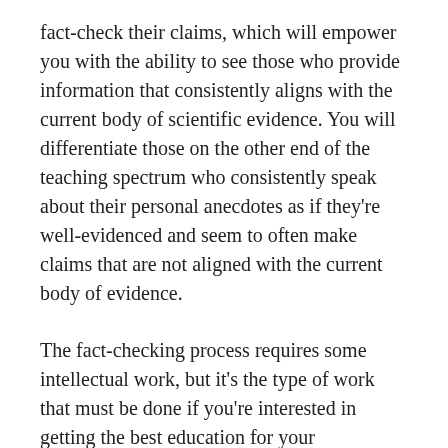fact-check their claims, which will empower you with the ability to see those who provide information that consistently aligns with the current body of scientific evidence. You will differentiate those on the other end of the teaching spectrum who consistently speak about their personal anecdotes as if they're well-evidenced and seem to often make claims that are not aligned with the current body of evidence.
The fact-checking process requires some intellectual work, but it's the type of work that must be done if you're interested in getting the best education for your investment. Once you've been engaged in the fact-checking process, you'll begin to see that there are certain people teaching who are providing more accurate (and